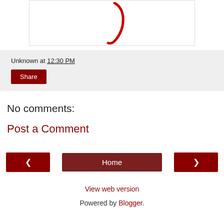[Figure (illustration): Partial view of a red cursive character or symbol on a white background, shown in a bordered image area]
Unknown at 12:30 PM
Share
No comments:
Post a Comment
< Home >
View web version
Powered by Blogger.